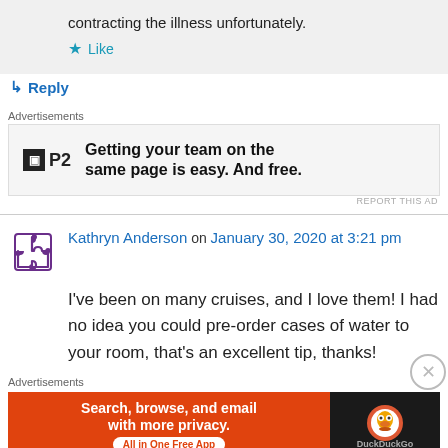contracting the illness unfortunately.
★ Like
↳ Reply
Advertisements
[Figure (other): P2 advertisement: Getting your team on the same page is easy. And free.]
REPORT THIS AD
Kathryn Anderson on January 30, 2020 at 3:21 pm
I've been on many cruises, and I love them! I had no idea you could pre-order cases of water to your room, that's an excellent tip, thanks!
Advertisements
[Figure (other): DuckDuckGo advertisement: Search, browse, and email with more privacy. All in One Free App.]
REPORT THIS AD